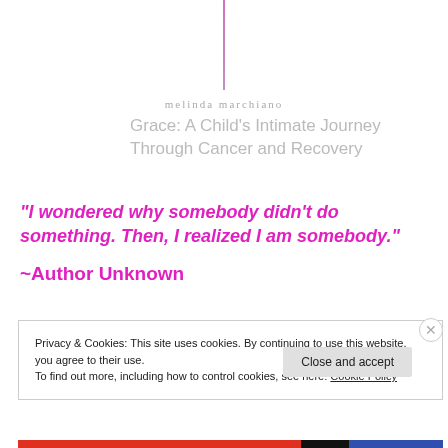[Figure (illustration): Vertical decorative line in pink/lavender color above the author name]
melinda marchiano
Grace: A Child's Intimate Journey Through Cancer and Recovery
“I wondered why somebody didn’t do something. Then, I realized I am somebody.”
~Author Unknown
Privacy & Cookies: This site uses cookies. By continuing to use this website, you agree to their use.
To find out more, including how to control cookies, see here: Cookie Policy
Close and accept